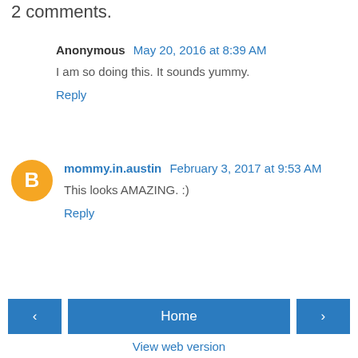2 comments.
Anonymous  May 20, 2016 at 8:39 AM
I am so doing this. It sounds yummy.
Reply
mommy.in.austin  February 3, 2017 at 9:53 AM
This looks AMAZING. :)
Reply
Home
View web version